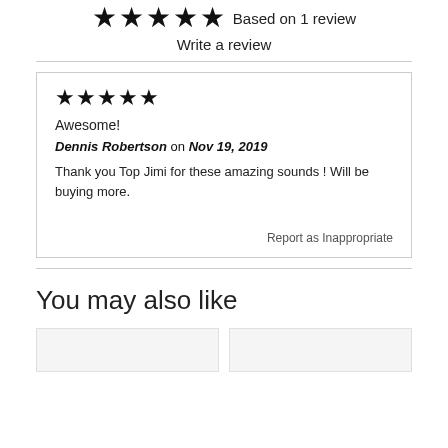Based on 1 review
Write a review
★★★★★
Awesome!
Dennis Robertson on Nov 19, 2019
Thank you Top Jimi for these amazing sounds ! Will be buying more.
Report as Inappropriate
You may also like